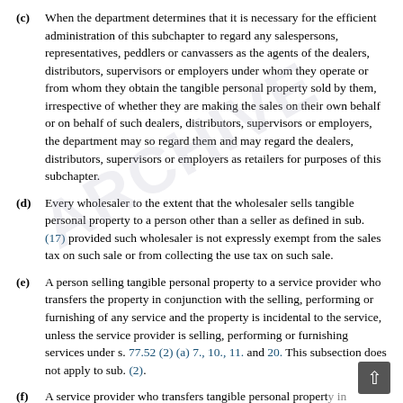(c) When the department determines that it is necessary for the efficient administration of this subchapter to regard any salespersons, representatives, peddlers or canvassers as the agents of the dealers, distributors, supervisors or employers under whom they operate or from whom they obtain the tangible personal property sold by them, irrespective of whether they are making the sales on their own behalf or on behalf of such dealers, distributors, supervisors or employers, the department may so regard them and may regard the dealers, distributors, supervisors or employers as retailers for purposes of this subchapter.
(d) Every wholesaler to the extent that the wholesaler sells tangible personal property to a person other than a seller as defined in sub. (17) provided such wholesaler is not expressly exempt from the sales tax on such sale or from collecting the use tax on such sale.
(e) A person selling tangible personal property to a service provider who transfers the property in conjunction with the selling, performing or furnishing of any service and the property is incidental to the service, unless the service provider is selling, performing or furnishing services under s. 77.52 (2) (a) 7., 10., 11. and 20. This subsection does not apply to sub. (2).
(f) A service provider who transfers tangible personal property in conjunction with but not incidental to the selling,